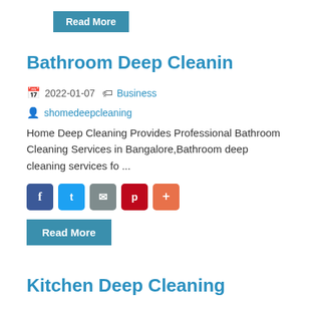Read More
Bathroom Deep Cleanin
2022-01-07  Business
shomadeepcleaning
Home Deep Cleaning Provides Professional Bathroom Cleaning Services in Bangalore,Bathroom deep cleaning services fo ...
[Figure (other): Social share buttons: Facebook, Twitter, Email, Pinterest, Plus]
Read More
Kitchen Deep Cleaning